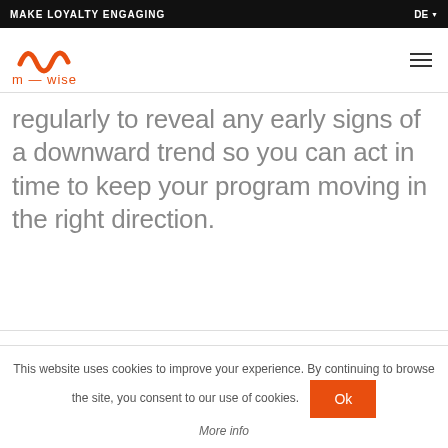MAKE LOYALTY ENGAGING | DE
[Figure (logo): m-wise logo with stylized wave mark in orange above text 'm — wise']
regularly to reveal any early signs of a downward trend so you can act in time to keep your program moving in the right direction.
This website uses cookies to improve your experience. By continuing to browse the site, you consent to our use of cookies. Ok
More info